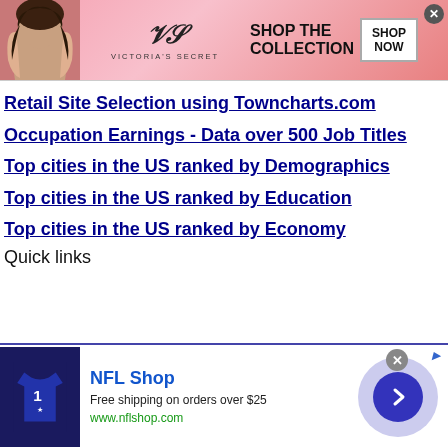[Figure (photo): Victoria's Secret advertisement banner with woman, VS logo, 'SHOP THE COLLECTION' text and 'SHOP NOW' button]
Retail Site Selection using Towncharts.com
Occupation Earnings - Data over 500 Job Titles
Top cities in the US ranked by Demographics
Top cities in the US ranked by Education
Top cities in the US ranked by Economy
Quick links
[Figure (photo): NFL Shop advertisement with football jersey, 'Free shipping on orders over $25', www.nflshop.com, and circular arrow button]